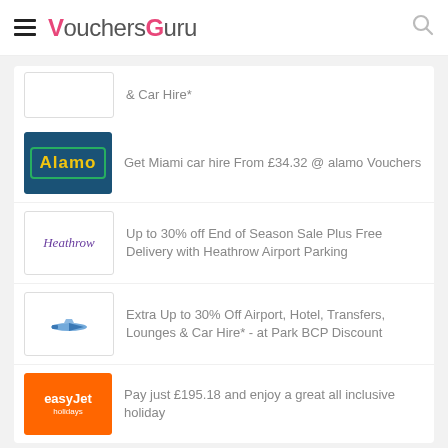VouchersGuru
& Car Hire*
Get Miami car hire From £34.32 @ alamo Vouchers
Up to 30% off End of Season Sale Plus Free Delivery with Heathrow Airport Parking
Extra Up to 30% Off Airport, Hotel, Transfers, Lounges & Car Hire* - at Park BCP Discount
Pay just £195.18 and enjoy a great all inclusive holiday
Featured Stores
Clear Chemist discount code